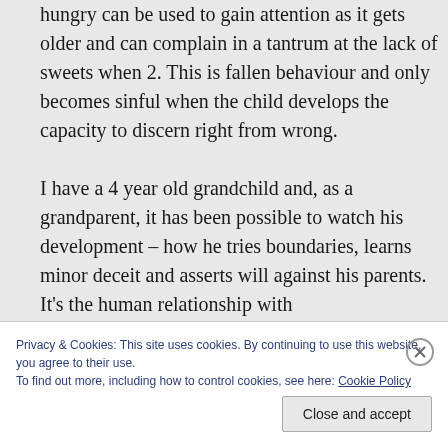hungry can be used to gain attention as it gets older and can complain in a tantrum at the lack of sweets when 2. This is fallen behaviour and only becomes sinful when the child develops the capacity to discern right from wrong. I have a 4 year old grandchild and, as a grandparent, it has been possible to watch his development – how he tries boundaries, learns minor deceit and asserts will against his parents. It's the human relationship with
Privacy & Cookies: This site uses cookies. By continuing to use this website, you agree to their use. To find out more, including how to control cookies, see here: Cookie Policy
Close and accept